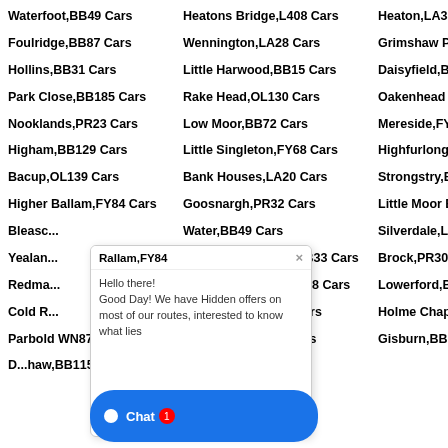Waterfoot,BB49 Cars
Heatons Bridge,L408 Cars
Heaton,LA33 Cars
Foulridge,BB87 Cars
Wennington,LA28 Cars
Grimshaw Park,BB23 Cars
Hollins,BB31 Cars
Little Harwood,BB15 Cars
Daisyfield,BB15 Cars
Park Close,BB185 Cars
Rake Head,OL130 Cars
Oakenhead Wood,BB48 Cars
Nooklands,PR23 Cars
Low Moor,BB72 Cars
Mereside,FY44 Cars
Higham,BB129 Cars
Little Singleton,FY68 Cars
Highfurlong,FY37 Cars
Bacup,OL139 Cars
Bank Houses,LA20 Cars
Strongstry,BL00 Cars
Higher Ballam,FY84 Cars
Goosnargh,PR32 Cars
Little Moor End,BB53 Cars
Bleasco...
Water,BB49 Cars
Silverdale,LA50 Cars
Yealan...
Whittlestone Head,BB33 Cars
Brock,PR30 Cars
Redma...
Brockhall Village,BB68 Cars
Lowerford,BB96 Cars
Cold R...
Parbold WN87 Cars
Little Layton,FY37 Cars
Holme Chapel,BB104 Cars
D...haw,BB115
Calder Vale,PR31 Cars
Gisburn,BB74 Cars